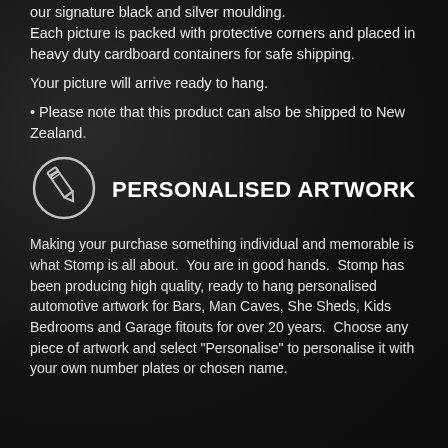our signature black and silver moulding. Each picture is packed with protective corners and placed in heavy duty cardboard containers for safe shipping.
Your picture will arrive ready to hang.
• Please note that this product can also be shipped to New Zealand.
[Figure (illustration): Pencil/edit icon inside a circle, white outline on dark background]
PERSONALISED ARTWORK
Making your purchase something individual and memorable is what Stomp is all about.  You are in good hands.  Stomp has been producing high quality, ready to hang personalised automotive artwork for Bars, Man Caves, She Sheds, Kids Bedrooms and Garage fitouts for over 20 years.  Choose any piece of artwork and select "Personalise" to personalise it with your own number plates or chosen name.